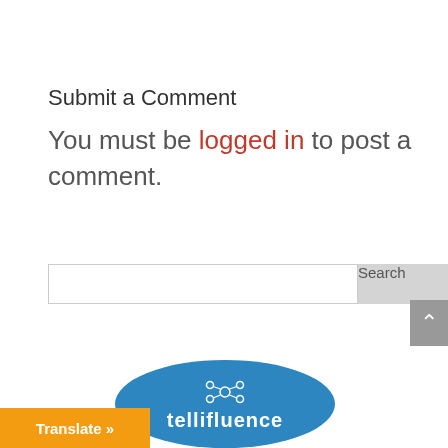Submit a Comment
You must be logged in to post a comment.
[Figure (screenshot): Search bar with text input field and Search button]
[Figure (logo): Tellifluence badge logo with network icon and text 'tellifluence' on a blue circular badge]
Translate »